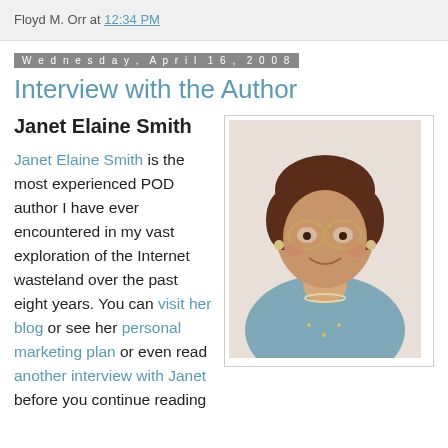Floyd M. Orr at 12:34 PM
Wednesday, April 16, 2008
Interview with the Author
[Figure (photo): Portrait photo of Janet Elaine Smith, an older woman with glasses, short dark hair, wearing a blue cardigan and pearl necklace, smiling at the camera.]
Janet Elaine Smith
Janet Elaine Smith is the most experienced POD author I have ever encountered in my vast exploration of the Internet wasteland over the past eight years. You can visit her blog or see her personal marketing plan or even read another interview with Janet before you continue reading